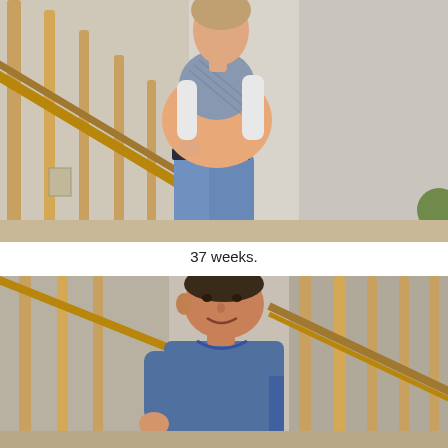[Figure (photo): A pregnant woman standing sideways showing a large baby bump at 37 weeks, wearing a blue patterned top with white sleeves and jeans, standing near wooden staircase railings]
37 weeks.
[Figure (photo): A man wearing a blue sweatshirt standing near wooden staircase railings, looking back over his shoulder and smiling at the camera]